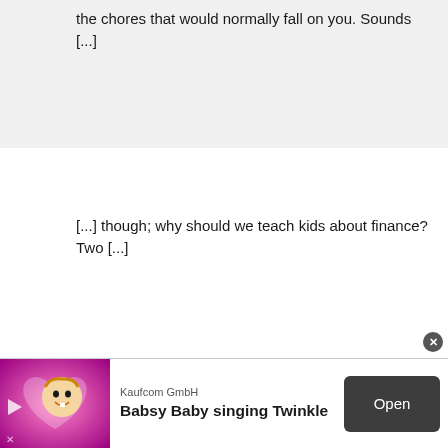the chores that would normally fall on you. Sounds [...]
[...] though; why should we teach kids about finance? Two [...]
[Figure (infographic): Advertisement banner for 'Babsy Baby singing Twinkle' app by Kaufcom GmbH, featuring a cartoon baby character on a pink/magenta background, with an 'Open' button on the right side.]